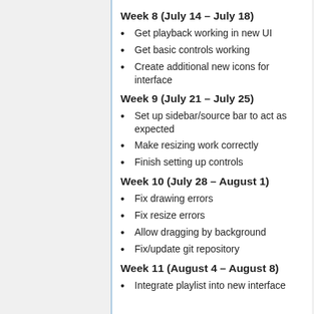Week 8 (July 14 – July 18)
Get playback working in new UI
Get basic controls working
Create additional new icons for interface
Week 9 (July 21 – July 25)
Set up sidebar/source bar to act as expected
Make resizing work correctly
Finish setting up controls
Week 10 (July 28 – August 1)
Fix drawing errors
Fix resize errors
Allow dragging by background
Fix/update git repository
Week 11 (August 4 – August 8)
Integrate playlist into new interface